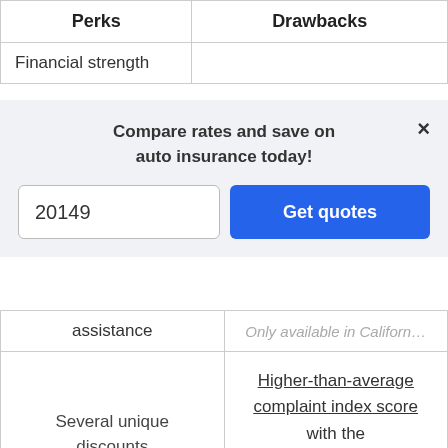| Perks | Drawbacks |
| --- | --- |
| Financial strength |  |
| assistance | Only available in California |
| Several unique discounts available | Higher-than-average complaint index score with the National Association of Insurance Commissioners (NAIC) |
[Figure (screenshot): Modal popup: 'Compare rates and save on auto insurance today!' with a ZIP code input field showing '20149' and a blue 'Get quotes' button. Has an X close button.]
Compare rates and save on auto insurance today!